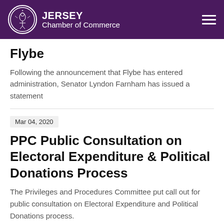JERSEY Chamber of Commerce
Flybe
Following the announcement that Flybe has entered administration, Senator Lyndon Farnham has issued a statement
Mar 04, 2020
PPC Public Consultation on Electoral Expenditure & Political Donations Process
The Privileges and Procedures Committee put call out for public consultation on Electoral Expenditure and Political Donations process.